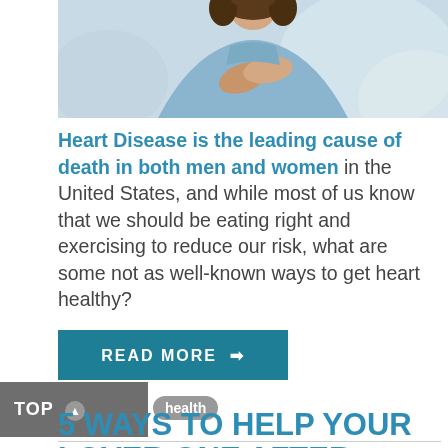[Figure (photo): Woman in light blue sweater with hands crossed over chest, suggesting heart health]
Heart Disease is the leading cause of death in both men and women in the United States, and while most of us know that we should be eating right and exercising to reduce our risk, what are some not as well-known ways to get heart healthy?
READ MORE →
TOP ↑
health
5 WAYS TO HELP YOUR LOVER ONE AFTER